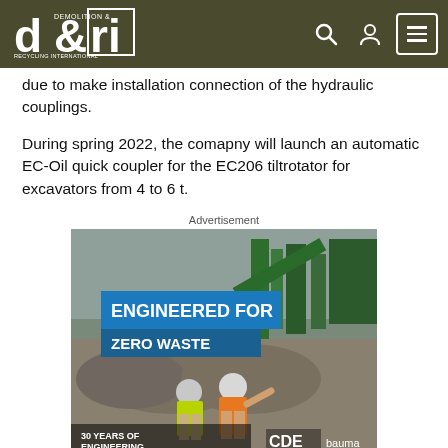Demolition & Recycling International (d&ri) - navigation header
due to make installation connection of the hydraulic couplings.
During spring 2022, the comapny will launch an automatic EC-Oil quick coupler for the EC206 tiltrotator for excavators from 4 to 6 t.
Advertisement
[Figure (photo): CDE advertisement: 'Engineered for Zero Waste' - two workers in hi-vis jackets stand in front of industrial recycling/processing equipment. Text reads: '30 YEARS OF ENGINEERING FOR YOU' with CDE and Bauma logos.]